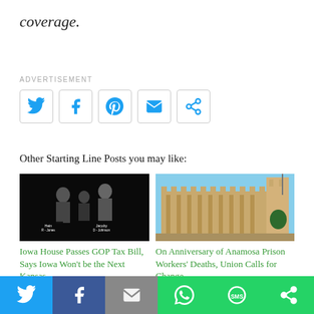coverage.
ADVERTISEMENT
[Figure (infographic): Social share buttons: Twitter, Facebook, Pinterest, Email, Share/Refresh]
Other Starting Line Posts you may like:
[Figure (photo): Screenshot of Iowa House legislative session with two legislators labeled: Jacoby D-Johnson and Hein R-Jones]
Iowa House Passes GOP Tax Bill, Says Iowa Won't be the Next Kansas
[Figure (photo): Photo of Anamosa State Penitentiary building exterior on a sunny day]
On Anniversary of Anamosa Prison Workers' Deaths, Union Calls for Change
[Figure (infographic): Bottom share bar: Twitter (blue), Facebook (dark blue), Email (gray), WhatsApp (green), SMS (green), Share (green)]